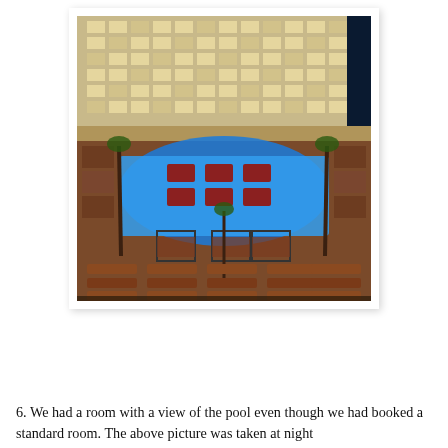[Figure (photo): Aerial nighttime view of a large hotel pool area. The image shows a glowing blue illuminated pool surrounded by lounge chairs, cabanas, palm trees, and red/brown seating areas. A large multi-story hotel building is visible in the background, lit up at night.]
6.  We had a room with a view of the pool even though we had booked a standard room.  The above picture was taken at night